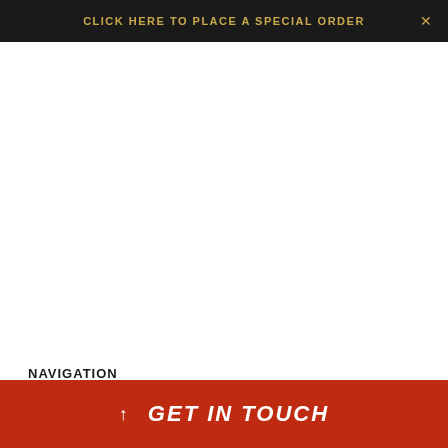CLICK HERE TO PLACE A SPECIAL ORDER
NAVIGATION
Shop
About
Local Delivery
Butcher's Blog
GET IN TOUCH